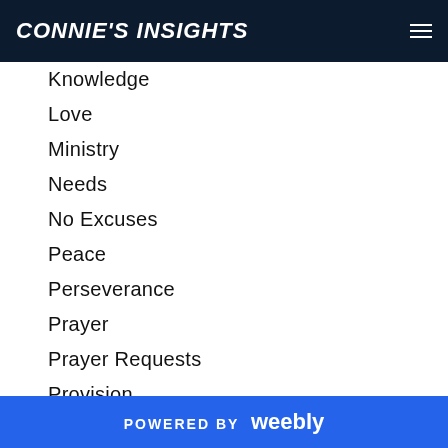CONNIE'S INSIGHTS
Knowledge
Love
Ministry
Needs
No Excuses
Peace
Perseverance
Prayer
Prayer Requests
Provision
Reach Out To Others
Reflection
POWERED BY weebly